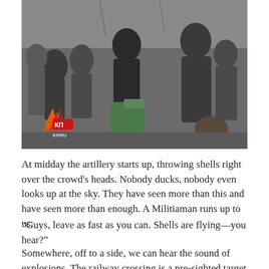[Figure (photo): A black and white photograph of a crowd of people, including children, carrying bags and luggage. They appear to be refugees or evacuees. A colorized logo watermark in the lower-left corner reads 'КП KPRU' with a flame graphic.]
At midday the artillery starts up, throwing shells right over the crowd's heads. Nobody ducks, nobody even looks up at the sky. They have seen more than this and have seen more than enough. A Militiaman runs up to us:
“Guys, leave as fast as you can. Shells are flying—you hear?”
Somewhere, off to a side, we can hear the sound of explosions. The railway crossing is a pre-sighted target so his concern is